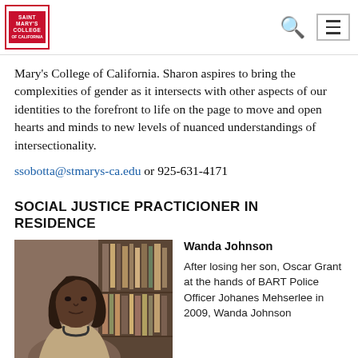Saint Mary's College of California [navigation bar with logo, search, and menu icons]
Mary's College of California. Sharon aspires to bring the complexities of gender as it intersects with other aspects of our identities to the forefront to life on the page to move and open hearts and minds to new levels of nuanced understandings of intersectionality.
ssobotta@stmarys-ca.edu or 925-631-4171
SOCIAL JUSTICE PRACTICIONER IN RESIDENCE
[Figure (photo): Portrait photo of Wanda Johnson, a woman seated indoors with bookshelves in the background]
Wanda Johnson

After losing her son, Oscar Grant at the hands of BART Police Officer Johanes Mehserlee in 2009, Wanda Johnson